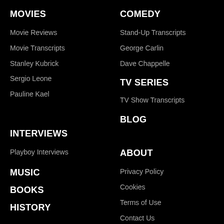MOVIES
Movie Reviews
Movie Transcripts
Stanley Kubrick
Sergio Leone
Pauline Kael
INTERVIEWS
Playboy Interviews
MUSIC
BOOKS
HISTORY
COMEDY
Stand-Up Transcripts
George Carlin
Dave Chappelle
TV SERIES
TV Show Transcripts
BLOG
ABOUT
Privacy Policy
Cookies
Terms of Use
Contact Us